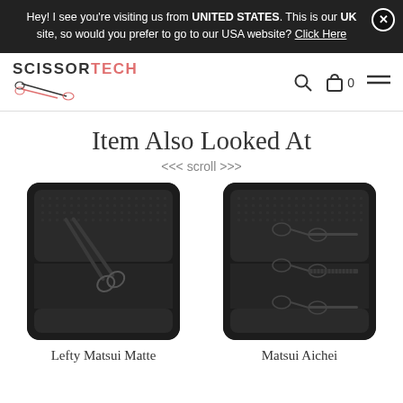Hey! I see you're visiting us from UNITED STATES. This is our UK site, so would you prefer to go to our USA website? Click Here
SCISSORTECH
Item Also Looked At
<<< scroll >>>
[Figure (photo): Black scissor case with single Lefty Matsui Matte scissors]
[Figure (photo): Black scissor case with Matsui Aichei scissors set]
Lefty Matsui Matte
Matsui Aichei